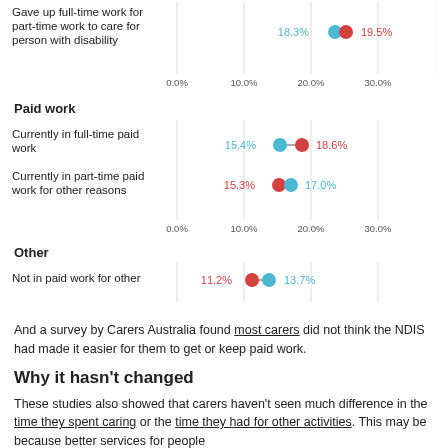[Figure (dot-plot): Gave up full-time work for part-time work to care for person with disability]
Paid work
[Figure (dot-plot): Paid work dot plot]
Other
[Figure (dot-plot): Not in paid work for other]
And a survey by Carers Australia found most carers did not think the NDIS had made it easier for them to get or keep paid work.
Why it hasn't changed
These studies also showed that carers haven't seen much difference in the time they spent caring or the time they had for other activities. This may be because better services for people with disabilities haven't necessarily reduced the amount of care